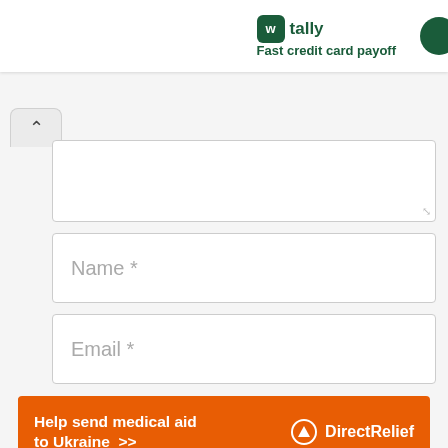[Figure (screenshot): Tally app advertisement banner at the top: Tally logo icon (green square with W), text 'tally' and 'Fast credit card payoff', green circular button on right edge.]
[Figure (screenshot): Web form with collapse arrow, textarea, Name input field placeholder, Email input field placeholder, checkbox row with text 'Save my name, email, and website in this browser for the next time I comment.']
[Figure (screenshot): Orange advertisement banner: 'Help send medical aid to Ukraine >>' with Direct Relief logo and text on right side.]